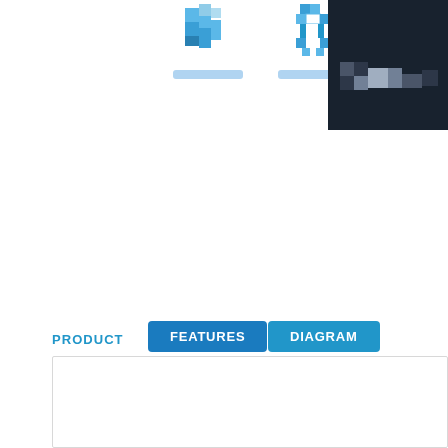[Figure (illustration): Two small pixel-art style blue icons (one resembling a 3D cube/box, one resembling a robot/gear shape) each with a light blue placeholder label bar beneath them, on a white background]
[Figure (photo): Dark navy/black image panel cropped on the right side, showing a small pixel/icon pattern with gray and white blocks on a dark background]
PRODUCT
FEATURES
DIAGRAM